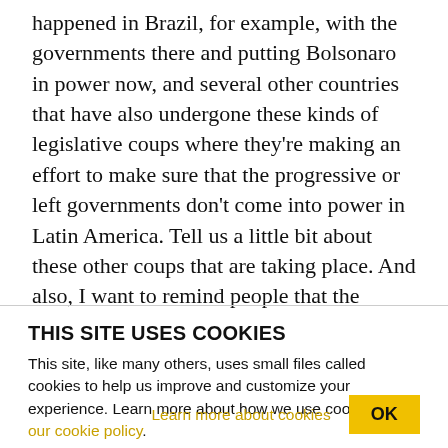happened in Brazil, for example, with the governments there and putting Bolsonaro in power now, and several other countries that have also undergone these kinds of legislative coups where they're making an effort to make sure that the progressive or left governments don't come into power in Latin America. Tell us a little bit about these other coups that are taking place. And also, I want to remind people that the people that are now in power in terms of U.S. foreign policy are the same people that were there when the coup against Chavez
THIS SITE USES COOKIES
This site, like many others, uses small files called cookies to help us improve and customize your experience. Learn more about how we use cookies in our cookie policy.
Learn more about cookies
OK